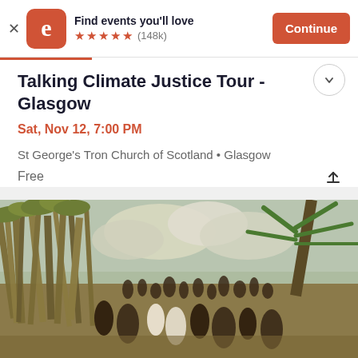Find events you'll love ★★★★★ (148k) Continue
Talking Climate Justice Tour - Glasgow
Sat, Nov 12, 7:00 PM
St George's Tron Church of Scotland • Glasgow
Free
[Figure (illustration): Historical painting/illustration showing a large group of people in a tropical setting with sugarcane fields and palm trees, depicting a colonial-era scene.]